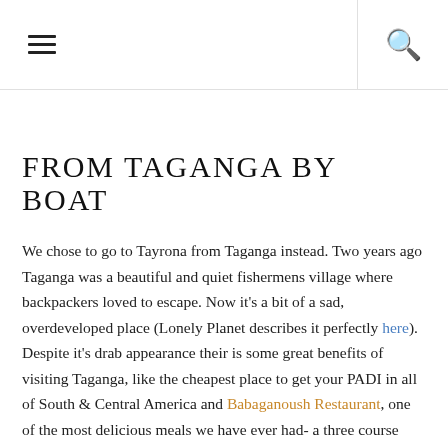≡  🔍
FROM TAGANGA BY BOAT
We chose to go to Tayrona from Taganga instead. Two years ago Taganga was a beautiful and quiet fishermens village where backpackers loved to escape. Now it's a bit of a sad, overdeveloped place (Lonely Planet describes it perfectly here). Despite it's drab appearance their is some great benefits of visiting Taganga, like the cheapest place to get your PADI in all of South & Central America and Babaganoush Restaurant, one of the most delicious meals we have ever had- a three course